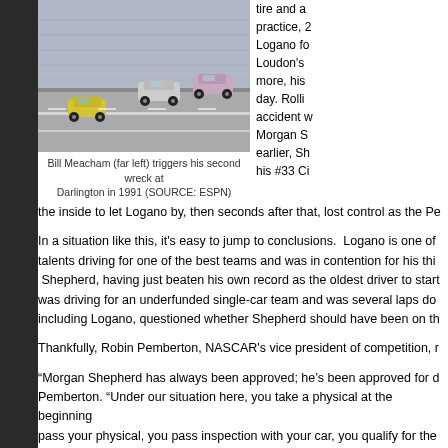[Figure (photo): Racing photo showing Bill Meacham (far left) triggering his second wreck at Darlington in 1991, with multiple stock cars visible on the track.]
Bill Meacham (far left) triggers his second wreck at Darlington in 1991 (SOURCE: ESPN)
tire and a practice, 2 Logano fo Loudon's more, his day. Rolli accident w Morgan S earlier, Sh his #33 C the inside to let Logano by, then seconds after that, lost control as the Pe
In a situation like this, it's easy to jump to conclusions. Logano is one of talents driving for one of the best teams and was in contention for his thi Shepherd, having just beaten his own record as the oldest driver to start was driving for an underfunded single-car team and was several laps do including Logano, questioned whether Shepherd should have been on th
Thankfully, Robin Pemberton, NASCAR's vice president of competition, r
“Morgan Shepherd has always been approved; he’s been approved for d Pemberton. “Under our situation here, you take a physical at the beginning pass your physical, you pass inspection with your car, you qualify for the the event. He met everything he needed to meet.”